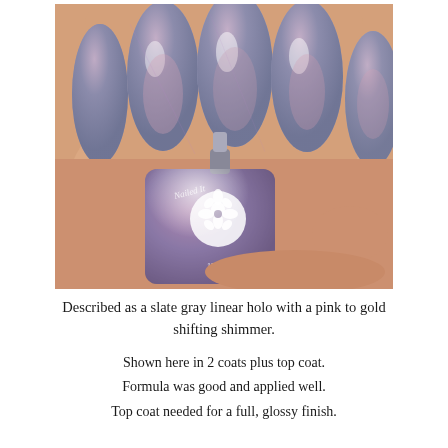[Figure (photo): Close-up photo of a hand holding a nail polish bottle by Nailed It, showing nails painted in a slate gray holographic polish with pink to gold shifting shimmer. The bottle has a white cherry blossom flower logo and text reading '15 ML'.]
Described as a slate gray linear holo with a pink to gold shifting shimmer.
Shown here in 2 coats plus top coat.
Formula was good and applied well.
Top coat needed for a full, glossy finish.